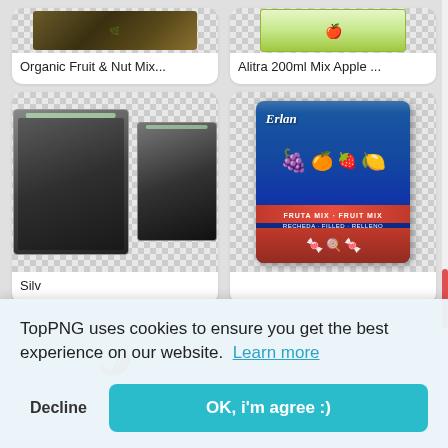[Figure (screenshot): TopPNG product grid screenshot showing food product cards: Organic Fruit & Nut Mix, Alitra 200ml Mix Apple, silver needle tea, Erlan Fruta Mix fruit candy, and partial bottom cards, with a cookie consent banner overlay]
Organic Fruit & Nut Mix...
Alitra 200ml Mix Apple ...
Silv
TopPNG uses cookies to ensure you get the best experience on our website.  Learn more
Decline
OK, i'm agree :)